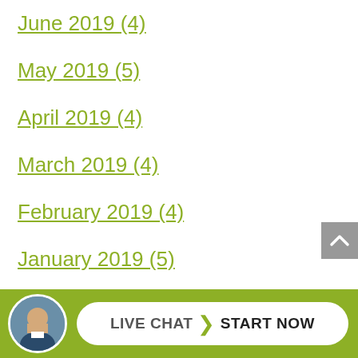June 2019 (4)
May 2019 (5)
April 2019 (4)
March 2019 (4)
February 2019 (4)
January 2019 (5)
December 2018 (4)
November 2018 (4)
October 2018 (5)
September 2018...